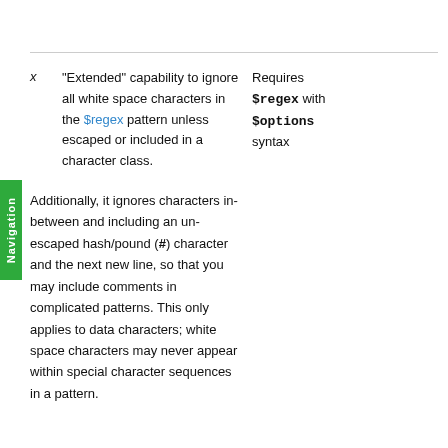x  "Extended" capability to ignore all white space characters in the $regex pattern unless escaped or included in a character class.  Requires $regex with $options syntax
Additionally, it ignores characters in-between and including an un-escaped hash/pound (#) character and the next new line, so that you may include comments in complicated patterns. This only applies to data characters; white space characters may never appear within special character sequences in a pattern.